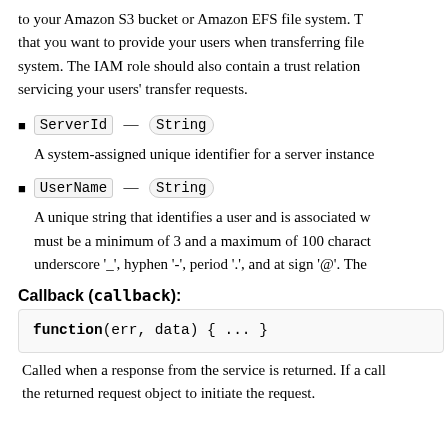to your Amazon S3 bucket or Amazon EFS file system. T that you want to provide your users when transferring file system. The IAM role should also contain a trust relation servicing your users' transfer requests.
ServerId — (String)
A system-assigned unique identifier for a server instance
UserName — (String)
A unique string that identifies a user and is associated w must be a minimum of 3 and a maximum of 100 charact underscore '_', hyphen '-', period '.', and at sign '@'. The
Callback (callback):
Called when a response from the service is returned. If a call the returned request object to initiate the request.